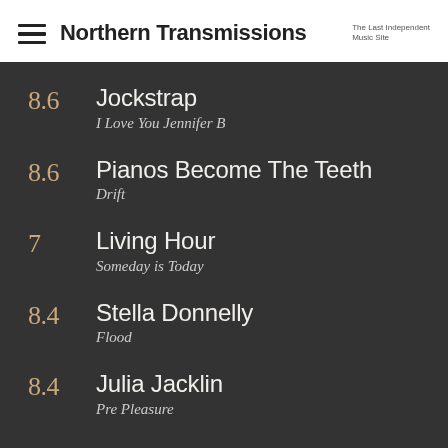Northern Transmissions — The Last Independent Music Site
8.6 Jockstrap — I Love You Jennifer B
8.6 Pianos Become The Teeth — Drift
7 Living Hour — Someday is Today
8.4 Stella Donnelly — Flood
8.4 Julia Jacklin — Pre Pleasure